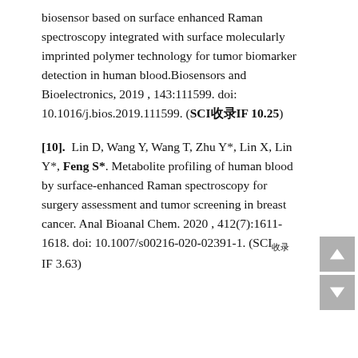biosensor based on surface enhanced Raman spectroscopy integrated with surface molecularly imprinted polymer technology for tumor biomarker detection in human blood.Biosensors and Bioelectronics, 2019 , 143:111599. doi: 10.1016/j.bios.2019.111599. (SCI收录IF 10.25)
[10].  Lin D, Wang Y, Wang T, Zhu Y*, Lin X, Lin Y*, Feng S*. Metabolite profiling of human blood by surface-enhanced Raman spectroscopy for surgery assessment and tumor screening in breast cancer. Anal Bioanal Chem. 2020 , 412(7):1611-1618. doi: 10.1007/s00216-020-02391-1. (SCI收录 IF 3.63)